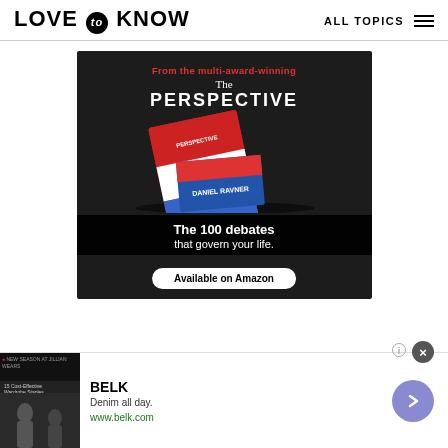LOVE to KNOW   ALL TOPICS
[Figure (photo): Advertisement for 'The Perspective' book by Daniel Ravner. Dark background with red/white/blue book cover showing text 'WHAT THE HELL A...' and overlay text: 'From the multi-award-winning', 'The', 'PERSPECTIVE', 'The 100 debates that govern your life.', 'Available on Amazon']
[Figure (photo): Bottom banner advertisement for BELK showing denim clothing photos on left, BELK brand name, 'Denim all day.', 'www.belk.com', arrow navigation button, close button, and ad badge icon]